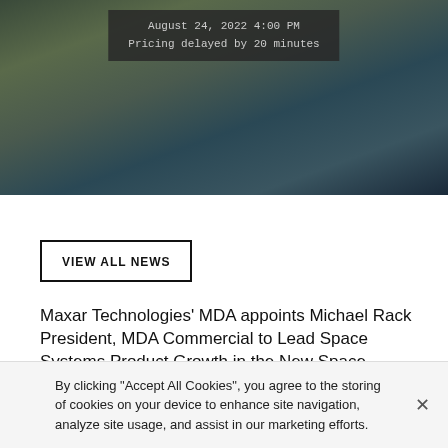[Figure (photo): Satellite or aerial photograph of Earth's surface viewed from space, showing terrain with dark overlay box displaying date and pricing delay information]
August 24, 2022 4:00 PM
Pricing delayed by 20 minutes
VIEW ALL NEWS
Maxar Technologies' MDA appoints Michael Rack President, MDA Commercial to Lead Space Systems Product Growth in the New Space Economy
July 27, 2018
By clicking "Accept All Cookies", you agree to the storing of cookies on your device to enhance site navigation, analyze site usage, and assist in our marketing efforts.